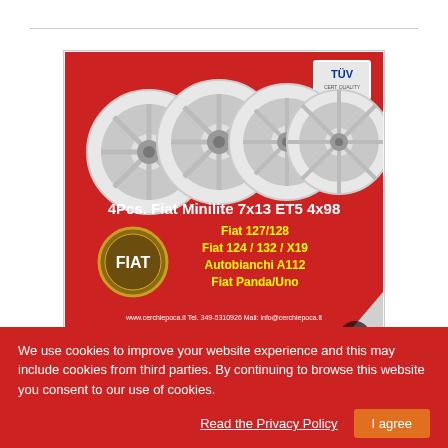[Figure (photo): Product advertisement image showing 4 silver Fiat Minilite wheels on a red background with text: '4Pcs. Fiat Minilite 7x13 ET5 4x98', 'Fiat 127/128', 'Fiat 124 / 132 / X19', 'Autobianchi A112', 'Fiat Panda/Uno', website and contact info, FIAT logo, TÜV badge]
4 pcs. wheels Fiat Minilite 7x13 ET5 4x98...
We use cookies to improve your website experience and this may include cookies from third parties. By continuing to browse this website you consent to our use of cookies.
Read the Privacy Policy
I agree